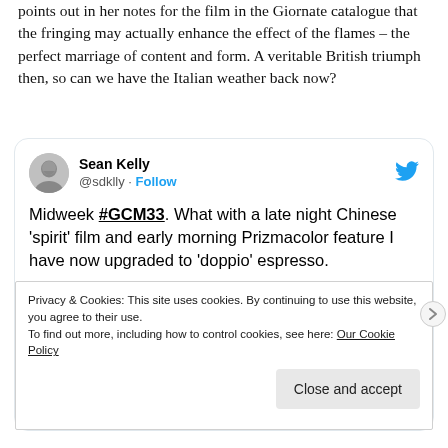the hot reds and yellows that signal destruction. Sarah Street points out in her notes for the film in the Giornate catalogue that the fringing may actually enhance the effect of the flames – the perfect marriage of content and form. A veritable British triumph then, so can we have the Italian weather back now?
[Figure (screenshot): Embedded tweet from Sean Kelly (@sdklly) with Twitter bird logo. Tweet reads: Midweek #GCM33. What with a late night Chinese 'spirit' film and early morning Prizmacolor feature I have now upgraded to 'doppio' espresso. Below the tweet is a cookie consent banner with Privacy & Cookies notice and a Close and accept button.]